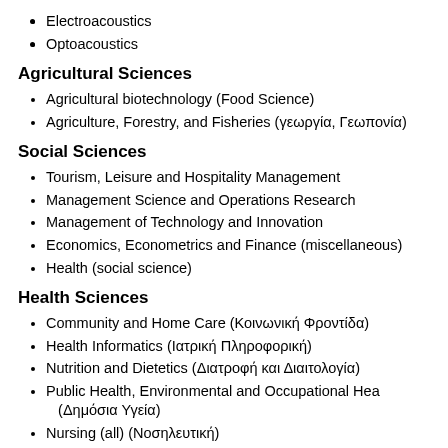Electroacoustics
Optoacoustics
Agricultural Sciences
Agricultural biotechnology (Food Science)
Agriculture, Forestry, and Fisheries (γεωργία, Γεωπονία)
Social Sciences
Tourism, Leisure and Hospitality Management
Management Science and Operations Research
Management of Technology and Innovation
Economics, Econometrics and Finance (miscellaneous)
Health (social science)
Health Sciences
Community and Home Care (Κοινωνική Φροντίδα)
Health Informatics (Ιατρική Πληροφορική)
Nutrition and Dietetics (Διατροφή και Διαιτολογία)
Public Health, Environmental and Occupational Hea… (Δημόσια Υγεία)
Nursing (all) (Νοσηλευτική)